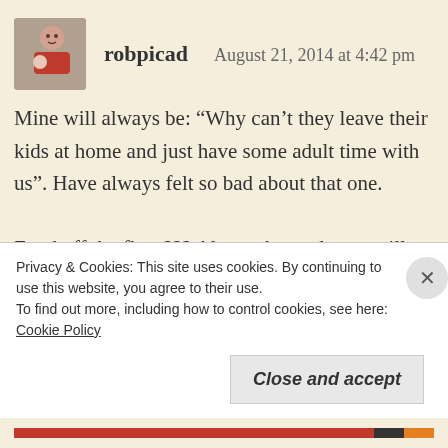[Figure (photo): Avatar photo of user robpicad showing a man holding a baby]
robpicad   August 21, 2014 at 4:42 pm
Mine will always be: “Why can’t they leave their kids at home and just have some adult time with us”. Have always felt so bad about that one.
Food off the floor??? Always have always will. Me I mean.
And I’m still clinging to hope that I can get away with “No food in the car”. The strict no food policy in Singapore is really helping that one.
Privacy & Cookies: This site uses cookies. By continuing to use this website, you agree to their use.
To find out more, including how to control cookies, see here: Cookie Policy
Close and accept